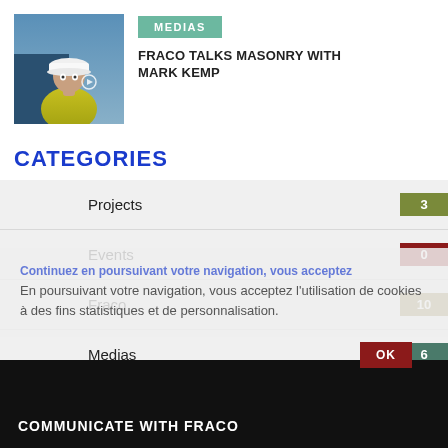[Figure (photo): Man in white hard hat and yellow safety vest outdoors]
MEDIAS
FRACO TALKS MASONRY WITH MARK KEMP
CATEGORIES
Projects 3
Events 0
Fraco 10
Medias 6
En poursuivant votre navigation, vous acceptez l'utilisation de cookies à des fins statistiques et de personnalisation.
OK
COMMUNICATE WITH FRACO